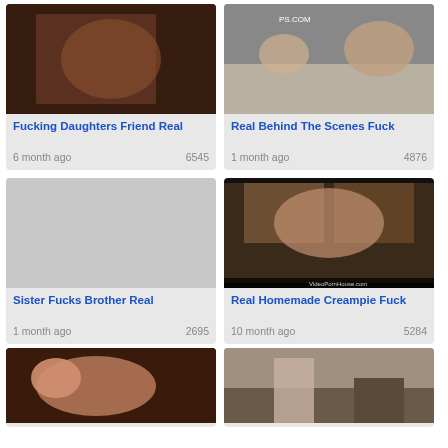[Figure (photo): Video thumbnail - dark bedroom scene]
Fucking Daughters Friend Real
6 month ago   6545
[Figure (photo): Video thumbnail - man on couch, watermark PS.COM]
Real Behind The Scenes Fuck
1 month ago   4876
[Figure (photo): Video thumbnail placeholder - gray]
Sister Fucks Brother Real
1 month ago   2695
[Figure (photo): Video thumbnail - bedroom scene, watermark VideoPornHouse.com]
Real Homemade Creampie Fuck
10 month ago   5284
[Figure (photo): Video thumbnail - woman fellatio scene]
[Figure (photo): Video thumbnail - woman in boots bedroom scene]